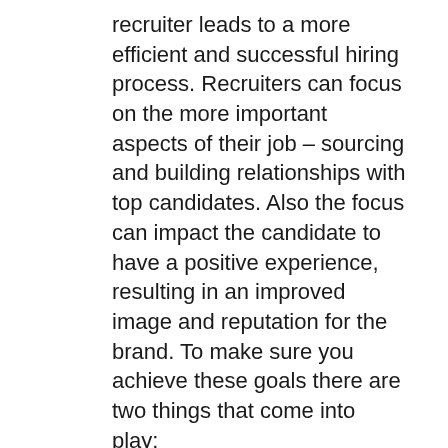recruiter leads to a more efficient and successful hiring process. Recruiters can focus on the more important aspects of their job – sourcing and building relationships with top candidates. Also the focus can impact the candidate to have a positive experience, resulting in an improved image and reputation for the brand. To make sure you achieve these goals there are two things that come into play:
Time management
One of the most important factors of the recruiter experience is time management. This includes: searching for candidates, reading through numerous applications, and liaising with both candidates and hiring managers can be time consuming.